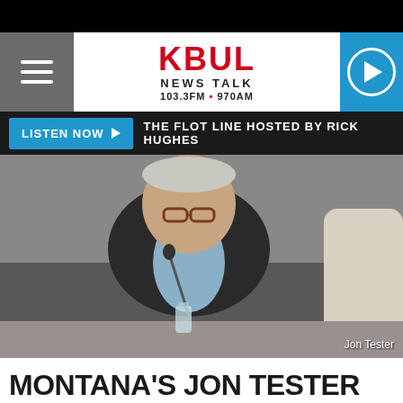[Figure (screenshot): KBUL News Talk 103.3FM 970AM radio station website header with hamburger menu, logo, and play button]
LISTEN NOW ▶  THE FLOT LINE HOSTED BY RICK HUGHES
[Figure (photo): Photo of Jon Tester seated at a table speaking into a microphone, wearing glasses and a dark blazer over a light blue shirt. Another person partially visible on the right.]
Jon Tester
MONTANA'S JON TESTER ONE OF